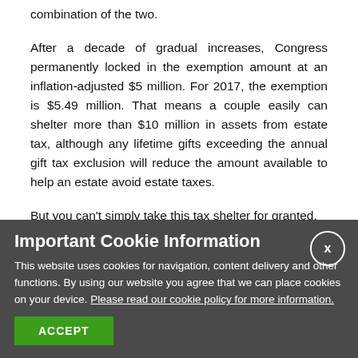combination of the two.
After a decade of gradual increases, Congress permanently locked in the exemption amount at an inflation-adjusted $5 million. For 2017, the exemption is $5.49 million. That means a couple easily can shelter more than $10 million in assets from estate tax, although any lifetime gifts exceeding the annual gift tax exclusion will reduce the amount available to help an estate avoid estate taxes.
But you can't simply take this tax shelter for granted.
Important Cookie Information
This website uses cookies for navigation, content delivery and other functions. By using our website you agree that we can place cookies on your device. Please read our cookie policy for more information.